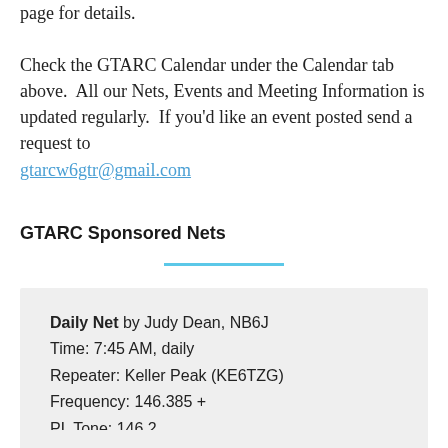page for details.

Check the GTARC Calendar under the Calendar tab above.  All our Nets, Events and Meeting Information is updated regularly.  If you'd like an event posted send a request to gtarcw6gtr@gmail.com
GTARC Sponsored Nets
Daily Net by Judy Dean, NB6J
Time: 7:45 AM, daily
Repeater: Keller Peak (KE6TZG)
Frequency: 146.385 +
PL Tone: 146.2